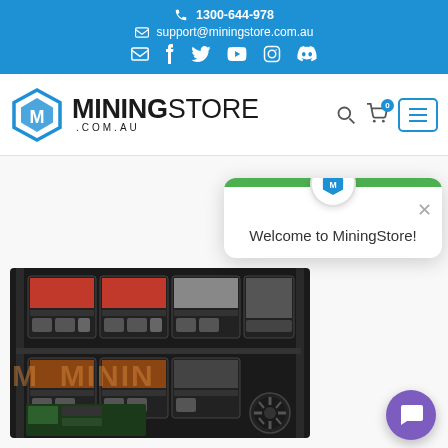1300-644-978 | support@miningstore.com.au
[Figure (logo): MiningStore.com.au logo with hexagonal M icon in blue and bold text MININGSTORE .COM.AU]
[Figure (photo): GPU cryptocurrency mining rig with multiple graphics cards in a metal frame]
Welcome to MiningStore!